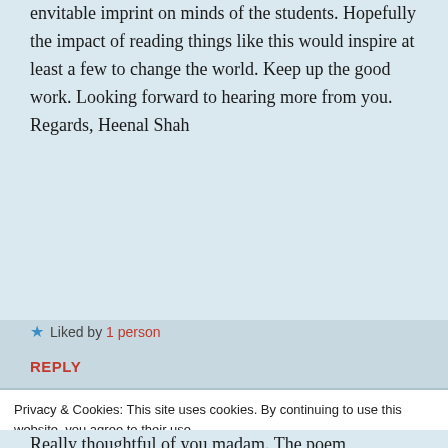envitable imprint on minds of the students. Hopefully the impact of reading things like this would inspire at least a few to change the world. Keep up the good work. Looking forward to hearing more from you. Regards, Heenal Shah
★ Liked by 1 person
REPLY
Privacy & Cookies: This site uses cookies. By continuing to use this website, you agree to their use. To find out more, including how to control cookies, see here: Cookie Policy
Close and accept
Really thoughtful of you madam. The poem